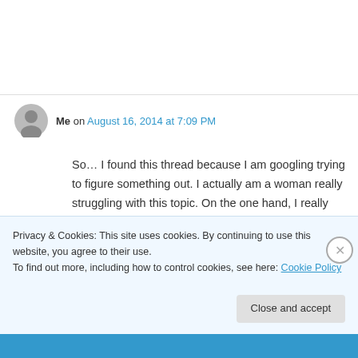Me on August 16, 2014 at 7:09 PM
So… I found this thread because I am googling trying to figure something out. I actually am a woman really struggling with this topic. On the one hand, I really believe whole-heartedly that a woman, or man, should wear whatever they
Privacy & Cookies: This site uses cookies. By continuing to use this website, you agree to their use.
To find out more, including how to control cookies, see here: Cookie Policy
Close and accept